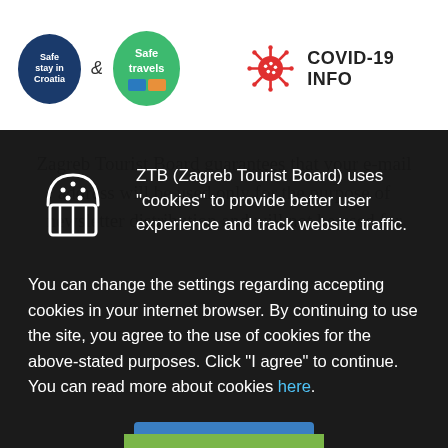[Figure (logo): Safe Stay in Croatia circular logo (dark blue) and Safe Travels circular logo (green) with partner logos, with ampersand between them]
[Figure (logo): Red coronavirus/COVID icon next to bold text COVID-19 INFO]
Zagreb Tourist Board guarantees that your e-mail address will be used only for the purpose of newsletter distribution and will not be used for
ZTB (Zagreb Tourist Board) uses "cookies" to provide better user experience and track website traffic. You can change the settings regarding accepting cookies in your internet browser. By continuing to use the site, you agree to the use of cookies for the above-stated purposes. Click "I agree" to continue. You can read more about cookies here.
[Figure (illustration): Cookie/muffin icon outline in white on dark background]
I Agree